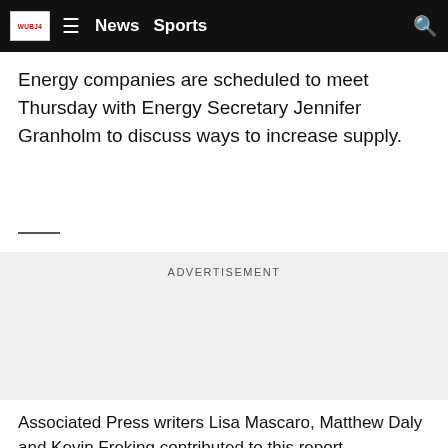News  Sports
Energy companies are scheduled to meet Thursday with Energy Secretary Jennifer Granholm to discuss ways to increase supply.
ADVERTISEMENT
Associated Press writers Lisa Mascaro, Matthew Daly and Kevin Freking contributed to this report.
Copyright 2022 The Associated Press. All rights reserved.
Taboola Feed